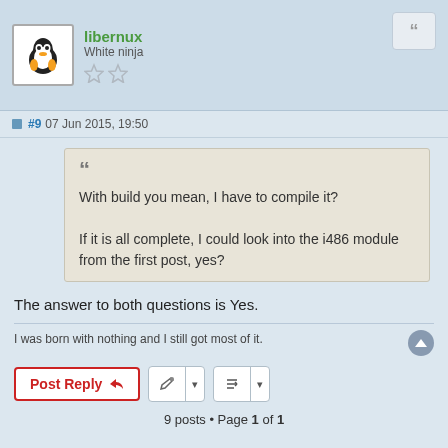libernux
White ninja
#9 07 Jun 2015, 19:50
With build you mean, I have to compile it?

If it is all complete, I could look into the i486 module from the first post, yes?
The answer to both questions is Yes.
I was born with nothing and I still got most of it.
Home < Forum | All times are UTC
© The Porteus Community | Powered by phpBB